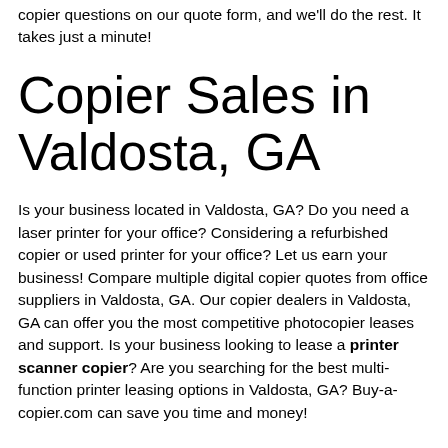copier questions on our quote form, and we'll do the rest. It takes just a minute!
Copier Sales in Valdosta, GA
Is your business located in Valdosta, GA? Do you need a laser printer for your office? Considering a refurbished copier or used printer for your office? Let us earn your business! Compare multiple digital copier quotes from office suppliers in Valdosta, GA. Our copier dealers in Valdosta, GA can offer you the most competitive photocopier leases and support. Is your business looking to lease a printer scanner copier? Are you searching for the best multi-function printer leasing options in Valdosta, GA? Buy-a-copier.com can save you time and money!